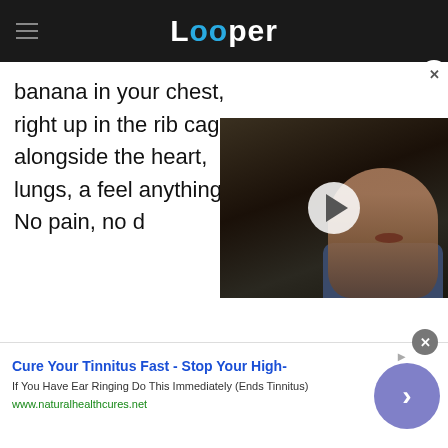Looper
banana in your chest, right up in the rib cage alongside the heart, lungs, a feel anything? No pain, no d
[Figure (screenshot): Video player showing a man's face in a dark scene, with a white play button overlay in the center. A close (X) button is in the top right corner.]
[Figure (screenshot): Advertisement banner: 'Cure Your Tinnitus Fast - Stop Your High-' with description 'If You Have Ear Ringing Do This Immediately (Ends Tinnitus)' and URL 'www.naturalhealthcures.net', with a purple circular arrow button on the right. Close button and ad indicator at top right.]